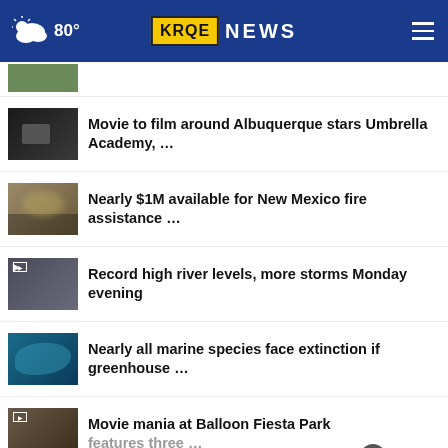80° KRQE NEWS
[Figure (screenshot): Partial news thumbnail at top (cropped)]
Movie to film around Albuquerque stars Umbrella Academy, …
Nearly $1M available for New Mexico fire assistance …
Record high river levels, more storms Monday evening
Nearly all marine species face extinction if greenhouse …
Movie mania at Balloon Fiesta Park features three …
[Figure (screenshot): Partial Ford logo thumbnail at bottom]
[Figure (screenshot): Advertisement banner: THESHELTERPETPROJECT.ORG with ad icons]